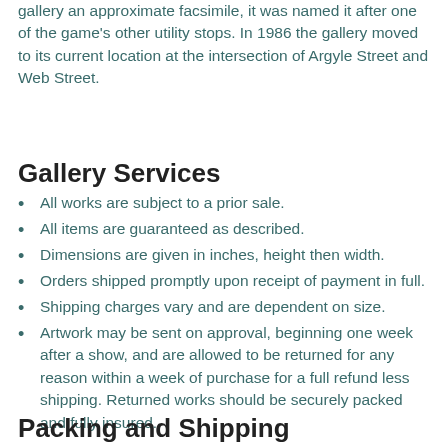gallery an approximate facsimile, it was named it after one of the game's other utility stops. In 1986 the gallery moved to its current location at the intersection of Argyle Street and Web Street.
Gallery Services
All works are subject to a prior sale.
All items are guaranteed as described.
Dimensions are given in inches, height then width.
Orders shipped promptly upon receipt of payment in full.
Shipping charges vary and are dependent on size.
Artwork may be sent on approval, beginning one week after a show, and are allowed to be returned for any reason within a week of purchase for a full refund less shipping. Returned works should be securely packed and fully insured.
Packing and Shipping